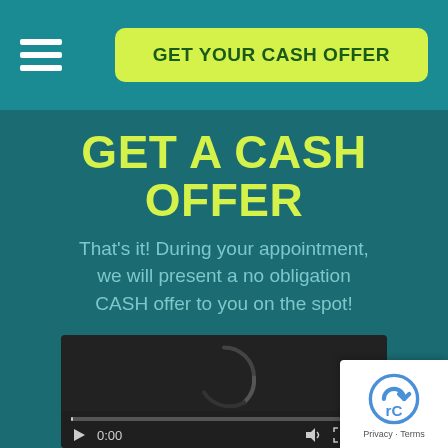[Figure (screenshot): Navigation bar with hamburger menu icon on left and yellow 'GET YOUR CASH OFFER' button on right, on teal background]
GET A CASH OFFER
That's it! During your appointment, we will present a no obligation CASH offer to you on the spot!
[Figure (screenshot): Embedded video player showing black background with loading spinner arc, controls showing 0:00 timestamp, volume, fullscreen, and menu icons, with a progress bar at bottom]